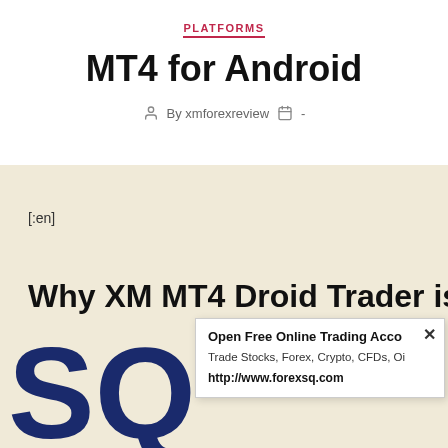PLATFORMS
MT4 for Android
By xmforexreview  -
[:en]
Why XM MT4 Droid Trader is
[Figure (logo): Large dark blue letters SQ, partially visible, representing a forex trading brand logo]
Open Free Online Trading Acco...
Trade Stocks, Forex, Crypto, CFDs, Oi...
http://www.forexsq.com